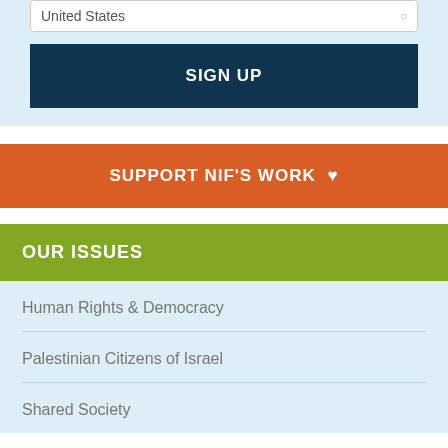United States
SIGN UP
SUPPORT NIF'S WORK ♥
OUR ISSUES
Human Rights & Democracy
Palestinian Citizens of Israel
Shared Society